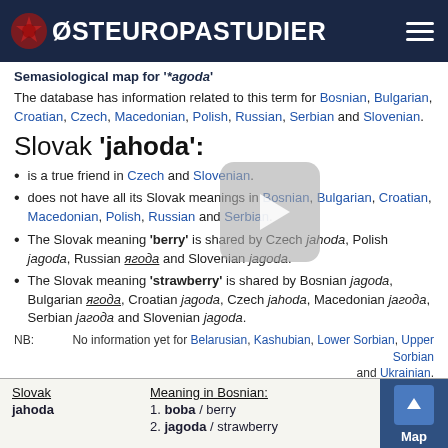ØSTEUROPASTUDIER
Semasiological map for '*agoda'
The database has information related to this term for Bosnian, Bulgarian, Croatian, Czech, Macedonian, Polish, Russian, Serbian and Slovenian.
Slovak 'jahoda':
is a true friend in Czech and Slovenian.
does not have all its Slovak meanings in Bosnian, Bulgarian, Croatian, Macedonian, Polish, Russian and Serbian.
The Slovak meaning 'berry' is shared by Czech jahoda, Polish jagoda, Russian ягода and Slovenian jagoda.
The Slovak meaning 'strawberry' is shared by Bosnian jagoda, Bulgarian ягода, Croatian jagoda, Czech jahoda, Macedonian јагода, Serbian јагода and Slovenian jagoda.
NB: No information yet for Belarusian, Kashubian, Lower Sorbian, Upper Sorbian and Ukrainian.
| Slovak | Meaning in Bosnian: |
| --- | --- |
| jahoda | 1. boba / berry |
|  | 2. jagoda / strawberry |